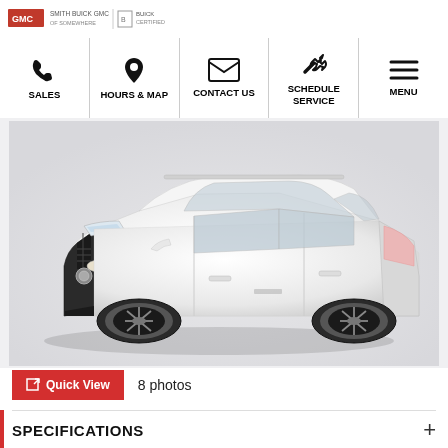Dealer logo / brand header
[Figure (infographic): Navigation bar with icons: SALES (phone), HOURS & MAP (map pin), CONTACT US (envelope), SCHEDULE SERVICE (wrench), MENU (hamburger)]
[Figure (photo): White Buick SUV (Envision) photographed from a front three-quarter angle on a light gray background]
Quick View   8 photos
SPECIFICATIONS